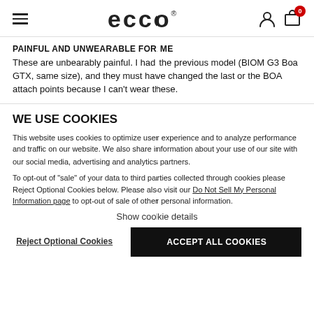ECCO header with hamburger menu, ECCO logo, user and cart icons (0 items)
PAINFUL AND UNWEARABLE FOR ME
These are unbearably painful. I had the previous model (BIOM G3 Boa GTX, same size), and they must have changed the last or the BOA attach points because I can't wear these.
WE USE COOKIES
This website uses cookies to optimize user experience and to analyze performance and traffic on our website. We also share information about your use of our site with our social media, advertising and analytics partners.
To opt-out of "sale" of your data to third parties collected through cookies please Reject Optional Cookies below. Please also visit our Do Not Sell My Personal Information page to opt-out of sale of other personal information.
Show cookie details
Reject Optional Cookies
ACCEPT ALL COOKIES